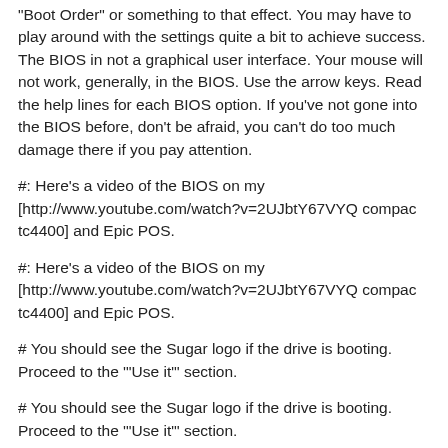"Boot Order" or something to that effect. You may have to play around with the settings quite a bit to achieve success. The BIOS in not a graphical user interface. Your mouse will not work, generally, in the BIOS. Use the arrow keys. Read the help lines for each BIOS option. If you've not gone into the BIOS before, don't be afraid, you can't do too much damage there if you pay attention.
#: Here's a video of the BIOS on my [http://www.youtube.com/watch?v=2UJbtY67VYQ compac tc4400] and Epic POS.
#: Here's a video of the BIOS on my [http://www.youtube.com/watch?v=2UJbtY67VYQ compac tc4400] and Epic POS.
# You should see the Sugar logo if the drive is booting. Proceed to the '"Use it"' section.
# You should see the Sugar logo if the drive is booting. Proceed to the '"Use it"' section.